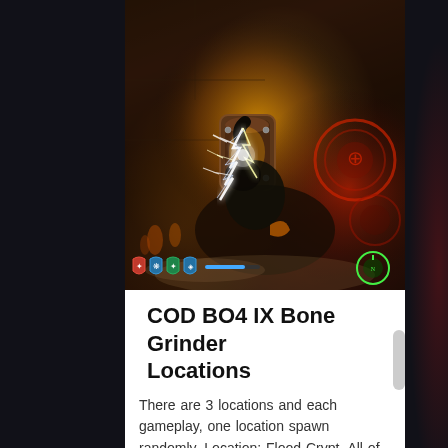[Figure (screenshot): Video game screenshot from COD BO4 IX showing a character interacting with a glowing electrical device (Bone Grinder) in a dark dungeon environment with orange/amber lighting, lightning effects, and HUD elements at the bottom including shield icons and a health indicator]
COD BO4 IX Bone Grinder Locations
There are 3 locations and each gameplay, one location spawn randomly. Location: Flood Crypt. All of them spawn on...